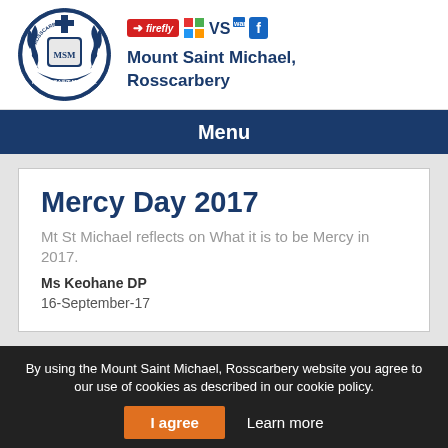[Figure (logo): Mount Saint Michael Rosscarbery school crest with laurel wreath and cross, navy blue circular badge]
Mount Saint Michael, Rosscarbery
Menu
Mercy Day 2017
Mt St Michael reflects on What it is to be Mercy in 2017.
Ms Keohane DP
16-September-17
By using the Mount Saint Michael, Rosscarbery website you agree to our use of cookies as described in our cookie policy.